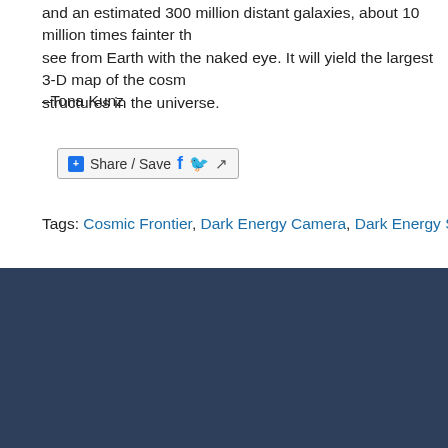and an estimated 300 million distant galaxies, about 10 million times fainter than you can see from Earth with the naked eye. It will yield the largest 3-D map of the cosmic structures in the universe.
–Tona Kunz
[Figure (other): Share / Save button with Facebook, Twitter, and share icons]
Tags: Cosmic Frontier, Dark Energy Camera, Dark Energy Survey, DECam, D...
[Figure (logo): Disqus comment system logo — dark grey circle with white D letter and speech bubble tail]